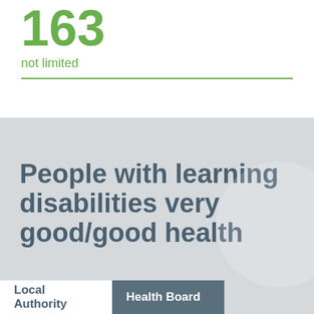163
not limited
People with learning disabilities very good/good health
Local Authority
Health Board